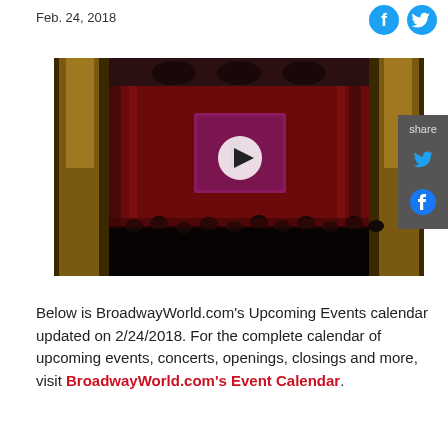Feb. 24, 2018
[Figure (screenshot): Video thumbnail of a Broadway theater stage with red curtains and a play button overlay. Social share sidebar on the right with Twitter and Facebook icons.]
Below is BroadwayWorld.com's Upcoming Events calendar updated on 2/24/2018. For the complete calendar of upcoming events, concerts, openings, closings and more, visit BroadwayWorld.com's Event Calendar.